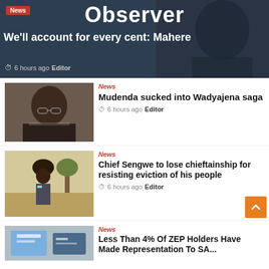[Figure (photo): Hero banner with dark background showing a person, Observer news site header with headline]
Observer
We'll account for every cent: Mahere
6 hours ago  Editor
[Figure (photo): Photo of a man in glasses and suit]
News
Mudenda sucked into Wadyajena saga
6 hours ago  Editor
[Figure (photo): Photo of a man in a hat outdoors]
News
Chief Sengwe to lose chieftainship for resisting eviction of his people
6 hours ago  Editor
[Figure (photo): Photo of documents/permits]
News
Less Than 4% Of ZEP Holders Have Made Representation To SA...